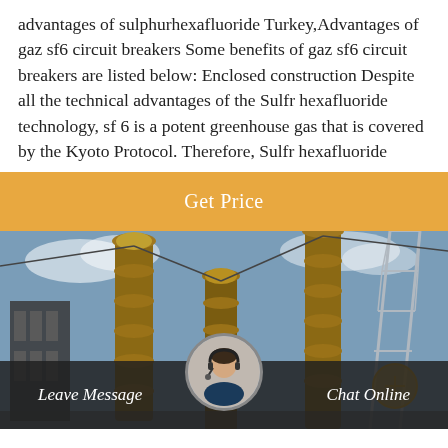advantages of sulphurhexafluoride Turkey,Advantages of gaz sf6 circuit breakers Some benefits of gaz sf6 circuit breakers are listed below: Enclosed construction Despite all the technical advantages of the Sulfr hexafluoride technology, sf 6 is a potent greenhouse gas that is covered by the Kyoto Protocol. Therefore, Sulfr hexafluoride
Get Price
[Figure (photo): Outdoor electrical substation with tall brown insulator columns, power transmission towers, blue sky with clouds in the background.]
Leave Message
Chat Online